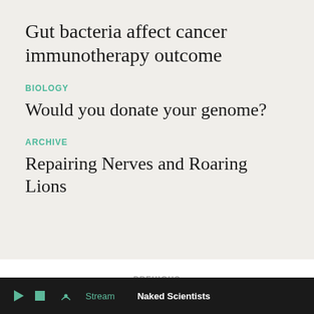Gut bacteria affect cancer immunotherapy outcome
BIOLOGY
Would you donate your genome?
ARCHIVE
Repairing Nerves and Roaring Lions
PREVIOUS
Can we exercise our brain to improve at difficult mental tasks?
Stream   Naked Scientists